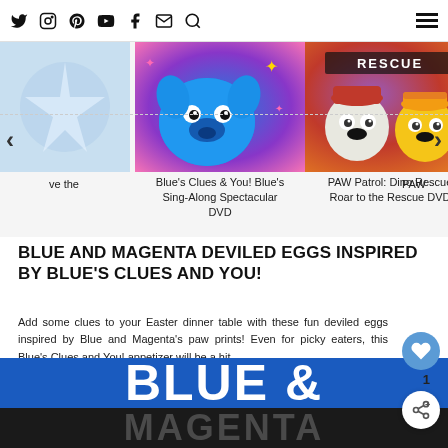Social media icons: Twitter, Instagram, Pinterest, YouTube, Facebook, Email, Search, Menu
[Figure (screenshot): Carousel showing Blue's Clues & You! Blue's Sing-Along Spectacular DVD and PAW Patrol: Dino Rescue Roar to the Rescue DVD]
Blue's Clues & You! Blue's Sing-Along Spectacular DVD
PAW Patrol: Dino Rescue Roar to the Rescue DVD
BLUE AND MAGENTA DEVILED EGGS INSPIRED BY BLUE'S CLUES AND YOU!
Add some clues to your Easter dinner table with these fun deviled eggs inspired by Blue and Magenta's paw prints! Even for picky eaters, this Blue's Clues and You! appetizer will be a hit.
[Figure (illustration): Blue and Magenta branded banner image with large text 'BLUE &' on blue background and 'MAGENTA' on dark background below]